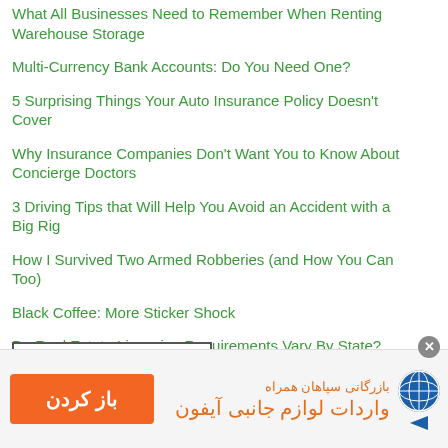What All Businesses Need to Remember When Renting Warehouse Storage
Multi-Currency Bank Accounts: Do You Need One?
5 Surprising Things Your Auto Insurance Policy Doesn't Cover
Why Insurance Companies Don't Want You to Know About Concierge Doctors
3 Driving Tips that Will Help You Avoid an Accident with a Big Rig
How I Survived Two Armed Robberies (and How You Can Too)
Black Coffee: More Sticker Shock
Do Real Estate Licensing Requirements Vary By State?
Grandfather Says: A Lesson on Real Estate Development
[Figure (infographic): Len Penzo dot Com badge box with title and 'Honored as a:' subtitle]
[Figure (infographic): Persian-language advertisement banner with orange button labeled 'باز کردن' (Open), text 'بازرگانی سپاهان همراه' and 'واردات لوازم جانبی آیفون', globe logo]